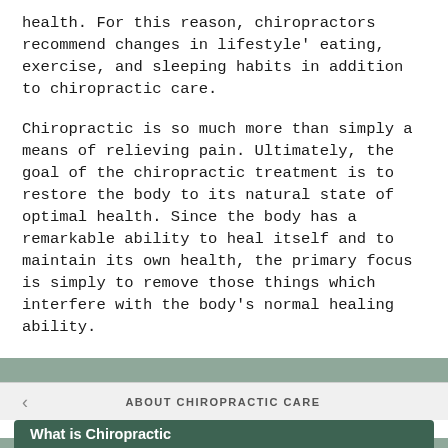health. For this reason, chiropractors recommend changes in lifestyle' eating, exercise, and sleeping habits in addition to chiropractic care.
Chiropractic is so much more than simply a means of relieving pain. Ultimately, the goal of the chiropractic treatment is to restore the body to its natural state of optimal health. Since the body has a remarkable ability to heal itself and to maintain its own health, the primary focus is simply to remove those things which interfere with the body's normal healing ability.
This section explains more about the background of chiropractic care, how it works, who it can benefit, and more!
< ABOUT CHIROPRACTIC CARE
What is Chiropractic